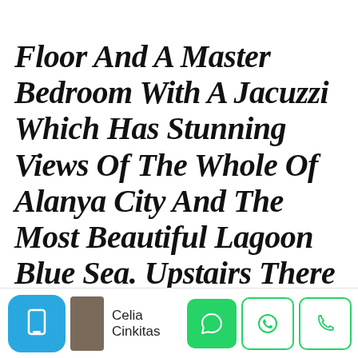Floor And A Master Bedroom With A Jacuzzi Which Has Stunning Views Of The Whole Of Alanya City And The Most Beautiful Lagoon Blue Sea. Upstairs There Are 3 Balconies With Wonderful Views Of The Taurus Mountains And Beautiful... The Villa Is A...
[Figure (screenshot): Mobile app footer bar with avatar icon (blue rounded square with phone icon), user name 'Celia Cinkitas', and three action buttons: green chat bubble, green WhatsApp logo outline, and green phone outline]